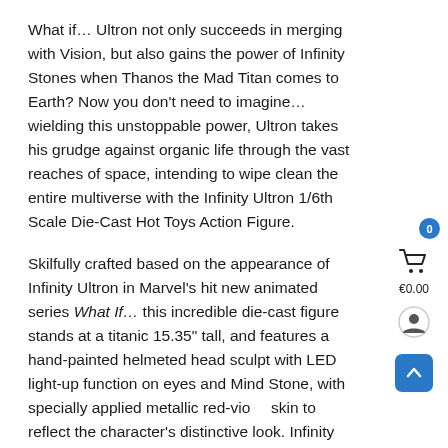What if… Ultron not only succeeds in merging with Vision, but also gains the power of Infinity Stones when Thanos the Mad Titan comes to Earth? Now you don't need to imagine… wielding this unstoppable power, Ultron takes his grudge against organic life through the vast reaches of space, intending to wipe clean the entire multiverse with the Infinity Ultron 1/6th Scale Die-Cast Hot Toys Action Figure.
Skilfully crafted based on the appearance of Infinity Ultron in Marvel's hit new animated series What If… this incredible die-cast figure stands at a titanic 15.35" tall, and features a hand-painted helmeted head sculpt with LED light-up function on eyes and Mind Stone, with specially applied metallic red-violet skin to reflect the character's distinctive look. Infinity Ultron is designed with over 30 points of articulation for dynamic posing, and comes with a highly-detailed helmet with LED light-up function and